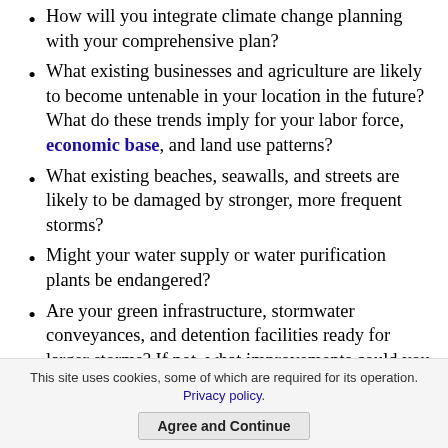How will you integrate climate change planning with your comprehensive plan?
What existing businesses and agriculture are likely to become untenable in your location in the future? What do these trends imply for your labor force, economic base, and land use patterns?
What existing beaches, seawalls, and streets are likely to be damaged by stronger, more frequent storms?
Might your water supply or water purification plants be endangered?
Are your green infrastructure, stormwater conveyances, and detention facilities ready for larger storms? If not, what improvements could you make now?
Do you have landscape, lawn, or tree preservation
This site uses cookies, some of which are required for its operation. Privacy policy.
Agree and Continue